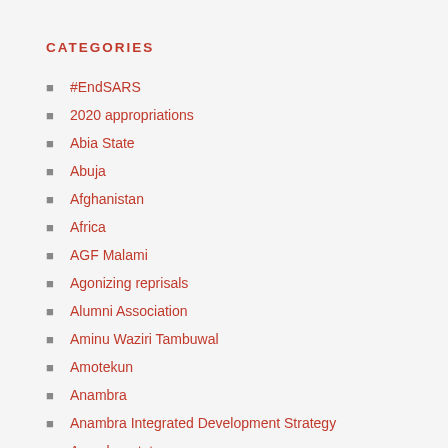CATEGORIES
#EndSARS
2020 appropriations
Abia State
Abuja
Afghanistan
Africa
AGF Malami
Agonizing reprisals
Alumni Association
Aminu Waziri Tambuwal
Amotekun
Anambra
Anambra Integrated Development Strategy
Anambra state